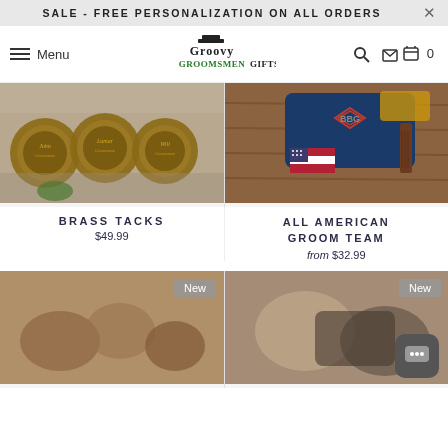SALE - FREE PERSONALIZATION ON ALL ORDERS
[Figure (logo): Groovy Groomsmen Gifts logo with top hat icon]
[Figure (photo): Brass Tacks personalized groomsmen pocket watch keychains with engraved names on stone background]
[Figure (photo): All American Groom Team navy blue dopp kit bag with monogram BBG and American flag accessories]
BRASS TACKS
$49.99
ALL AMERICAN GROOM TEAM
from $32.99
[Figure (photo): New product - blurred photo of wooden groomsmen items]
[Figure (photo): New product - blurred photo of groomsmen gift items with chat button overlay]